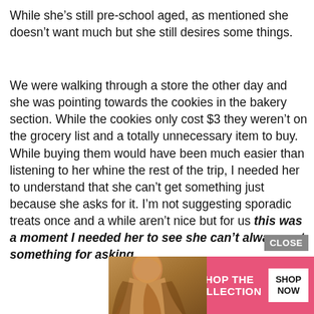While she’s still pre-school aged, as mentioned she doesn’t want much but she still desires some things.
We were walking through a store the other day and she was pointing towards the cookies in the bakery section. While the cookies only cost $3 they weren’t on the grocery list and a totally unnecessary item to buy. While buying them would have been much easier than listening to her whine the rest of the trip, I needed her to understand that she can’t get something just because she asks for it. I’m not suggesting sporadic treats once and a while aren’t nice but for us this was a moment I needed her to see she can’t always get something for asking.
[Figure (other): Victoria's Secret advertisement banner with model photo, VS logo, 'SHOP THE COLLECTION' text, and 'SHOP NOW' button. Has a 'CLOSE' button above.]